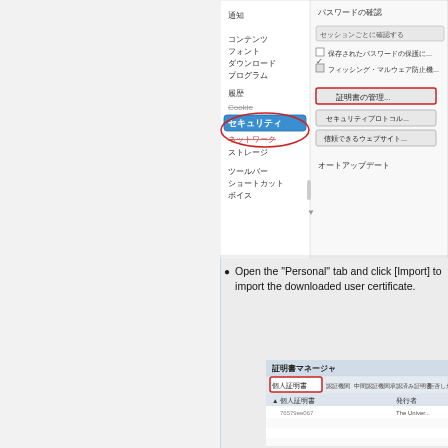[Figure (screenshot): Firefox browser preferences window showing security settings panel in Japanese, with セキュリティ item highlighted in blue in the left navigation list, and buttons for certificate management and security protocol on the right.]
Open the “Personal” tab and click [Import] to import the downloaded user certificate.
[Figure (screenshot): Certificate Manager window (証明書マネージャ) in Japanese showing the Personal certificates (個人証明書) tab selected, with a certificate entry and issuer column showing The Univer...]